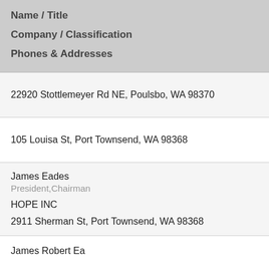Name / Title
Company / Classification
Phones & Addresses
22920 Stottlemeyer Rd NE, Poulsbo, WA 98370
105 Louisa St, Port Townsend, WA 98368
James Eades
President,Chairman
HOPE INC
2911 Sherman St, Port Townsend, WA 98368
James Robert Ea...